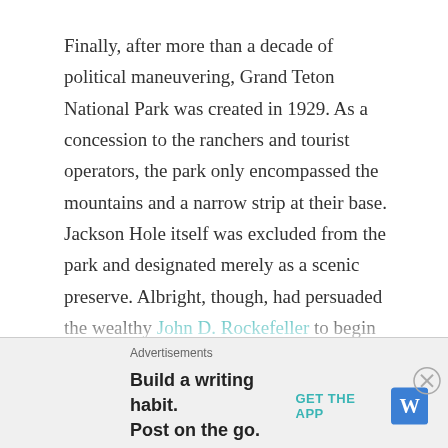Finally, after more than a decade of political maneuvering, Grand Teton National Park was created in 1929. As a concession to the ranchers and tourist operators, the park only encompassed the mountains and a narrow strip at their base. Jackson Hole itself was excluded from the park and designated merely as a scenic preserve. Albright, though, had persuaded the wealthy John D. Rockefeller to begin buying up land in the Jackson Hole area for possible future incorporation into the park. This semisecret, private means of enlarging the park inspired further resentment among the residents, and some complained that it was a typical example of how "eastern money interests" were
Advertisements
Build a writing habit. Post on the go.
GET THE APP